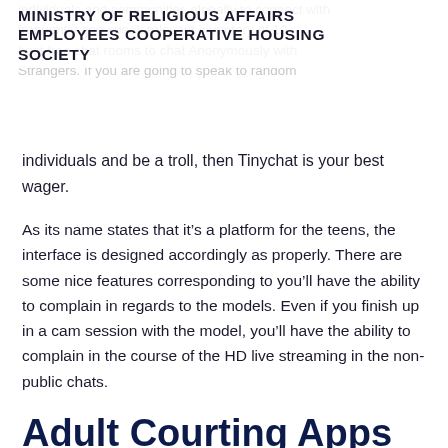MINISTRY OF RELIGIOUS AFFAIRS EMPLOYEES COOPERATIVE HOUSING SOCIETY
individuals and be a troll, then Tinychat is your best wager.
As its name states that it’s a platform for the teens, the interface is designed accordingly as properly. There are some nice features corresponding to you’ll have the ability to complain in regards to the models. Even if you finish up in a cam session with the model, you’ll have the ability to complain in the course of the HD live streaming in the non-public chats.
Adult Courting Apps Teens Are Using Too